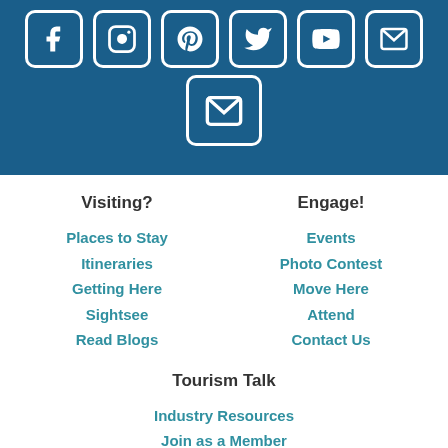[Figure (illustration): Dark blue banner with white social media icons (Facebook, Instagram, Pinterest, Twitter, YouTube, email/envelope) arranged in a row at top, and a large email/envelope icon box centered below them.]
Visiting?
Places to Stay
Itineraries
Getting Here
Sightsee
Read Blogs
Engage!
Events
Photo Contest
Move Here
Attend
Contact Us
Tourism Talk
Industry Resources
Join as a Member
Media Inquiries
Host Groups & Events
About Us